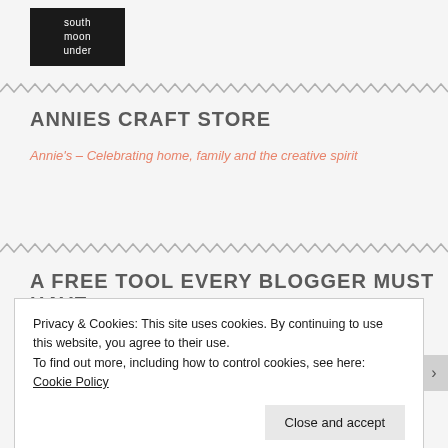[Figure (logo): South Moon Under logo — white text on black background, reading 'south moon under']
ANNIES CRAFT STORE
Annie's – Celebrating home, family and the creative spirit
A FREE TOOL EVERY BLOGGER MUST HAVE
[Figure (screenshot): Partial screenshot showing a green circle on white background]
Privacy & Cookies: This site uses cookies. By continuing to use this website, you agree to their use.
To find out more, including how to control cookies, see here: Cookie Policy
Close and accept